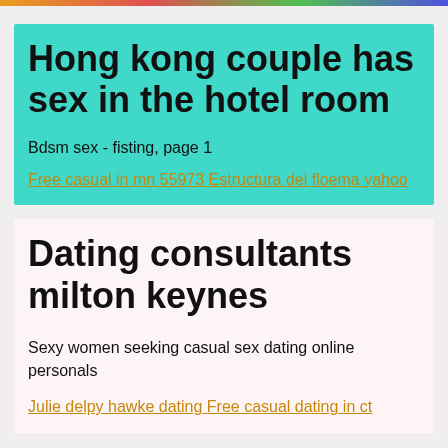Hong kong couple has sex in the hotel room
Bdsm sex - fisting, page 1
Free casual in mn 55973 Estructura del floema yahoo
Dating consultants milton keynes
Sexy women seeking casual sex dating online personals
Julie delpy hawke dating Free casual dating in ct